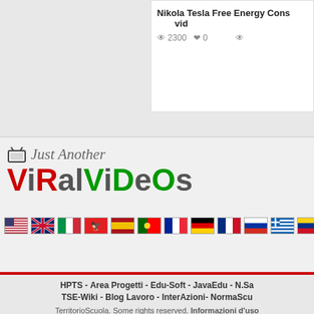Nikola Tesla Free Energy Cons
2300  0
[Figure (logo): Just Another ViRalViDeOs website logo with TV icon]
[Figure (infographic): Row of country flag icons: US, UK, Italy, Albania, Spain, Portugal, France, Germany, Romania, Russia, Greece, Colombia, Uruguay, Argentina, Venezuela, Brazil, Chile, and more]
HPTS - Area Progetti - Edu-Soft - JavaEdu - N.Sa
TSE-Wiki - Blog Lavoro - InterAzioni- NormaScu
TerritorioScuola. Some rights reserved. Informazioni d'uso